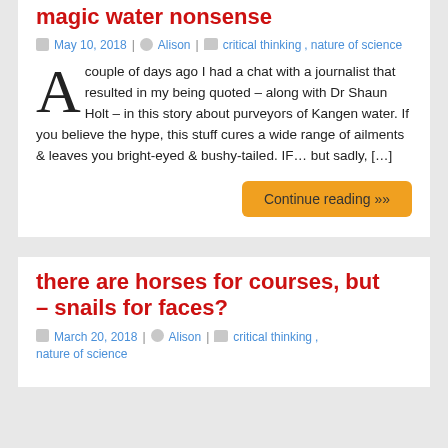magic water nonsense
May 10, 2018 | Alison | critical thinking, nature of science
A couple of days ago I had a chat with a journalist that resulted in my being quoted – along with Dr Shaun Holt – in this story about purveyors of Kangen water. If you believe the hype, this stuff cures a wide range of ailments & leaves you bright-eyed & bushy-tailed. IF… but sadly, […]
Continue reading »»
there are horses for courses, but – snails for faces?
March 20, 2018 | Alison | critical thinking, nature of science